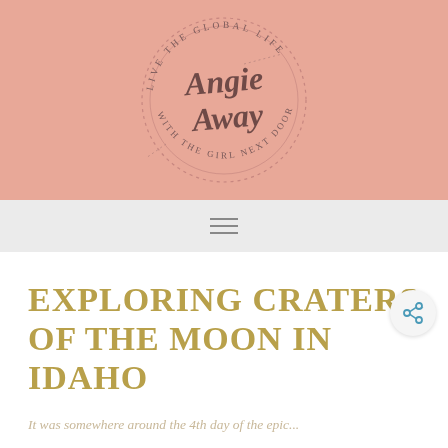[Figure (logo): Angie Away blog logo — circular design with script text 'Angie Away' in the center and curved text 'LIVE THE GLOBAL LIFE' at top and 'WITH THE GIRL NEXT DOOR' at bottom, on a salmon/pink background]
≡
EXPLORING CRATERS OF THE MOON IN IDAHO
It was somewhere around the 4th day of the epic...